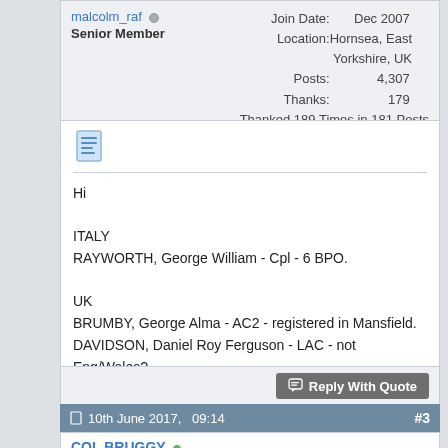malcolm_raf (online) Senior Member
Join Date: Dec 2007
Location: Hornsea, East Yorkshire, UK
Posts: 4,307
Thanks: 179
Thanked 189 Times in 181 Posts
Hi

ITALY
RAYWORTH, George William - Cpl - 6 BPO.

UK
BRUMBY, George Alma - AC2 - registered in Mansfield.
DAVIDSON, Daniel Roy Ferguson - LAC - not Eng/Wales?.

Malcolm
Reply With Quote
10th June 2017,   09:14   #3
COL BRUGGY (online) Senior Member